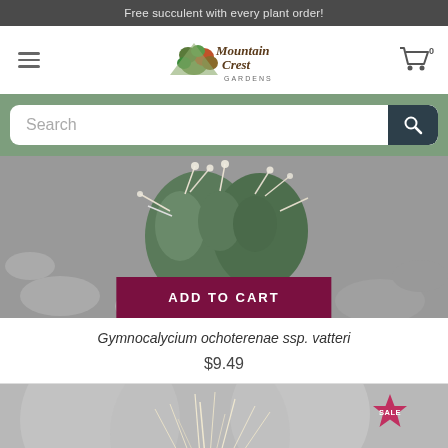Free succulent with every plant order!
[Figure (logo): Mountain Crest Gardens logo with illustrated succulent plants]
Search
[Figure (photo): Close-up photo of a Gymnocalycium ochoterenae ssp. vatteri cactus with white spines on a rocky background]
ADD TO CART
Gymnocalycium ochoterenae ssp. vatteri
$9.49
[Figure (photo): Partially visible photo of a plant with fine white/cream feathery spines, with a SALE badge overlay]